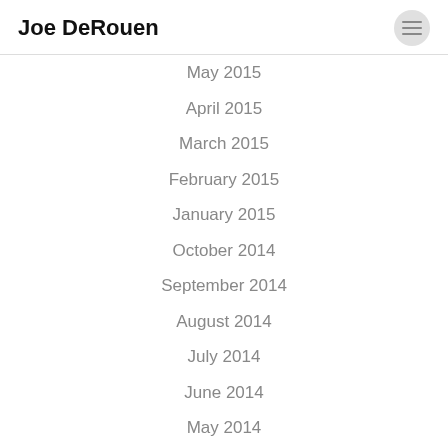Joe DeRouen
May 2015
April 2015
March 2015
February 2015
January 2015
October 2014
September 2014
August 2014
July 2014
June 2014
May 2014
February 2014
January 2014